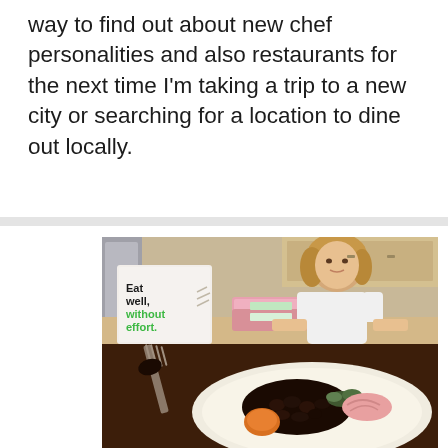way to find out about new chef personalities and also restaurants for the next time I'm taking a trip to a new city or searching for a location to dine out locally.
[Figure (photo): Top half: A woman in a white shirt stands in a kitchen behind a counter holding green meal kit containers, next to a white insulated delivery bag with text 'Eat well, without effort.' printed on it in black and green. Bottom half: Close-up of a plated meal with black beans, roasted vegetables, and garnishes, with a fork in the foreground.]